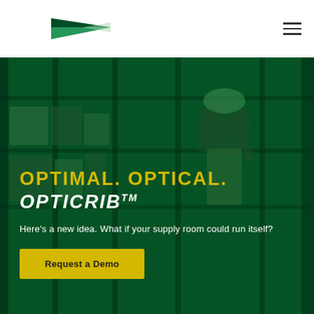[Figure (logo): Company logo - a green triangular/arrow shape pointing right]
[Figure (other): Hamburger menu icon with three horizontal lines]
[Figure (photo): Warehouse background photo with a worker in green hard hat and safety vest picking items from shelves, overlaid with dark green color tint]
OPTIMAL. OPTICAL.
OPTICRIB™
Here's a new idea. What if your supply room could run itself?
Request a Demo